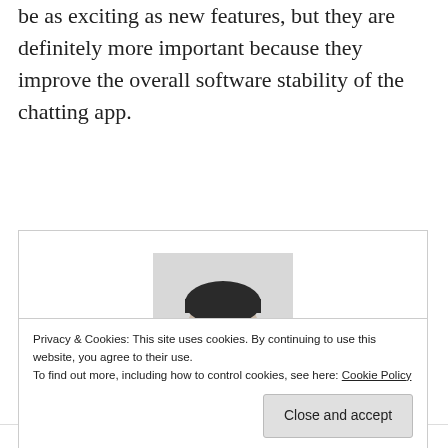be as exciting as new features, but they are definitely more important because they improve the overall software stability of the chatting app.
[Figure (photo): Black and white portrait photo of a young man with short dark hair and a beard, wearing a checked shirt, cropped at chest level.]
Vadim Ioan Caraiman
Privacy & Cookies: This site uses cookies. By continuing to use this website, you agree to their use.
To find out more, including how to control cookies, see here: Cookie Policy
Close and accept
FACEBOOK   FACEBOOK MESSENGER